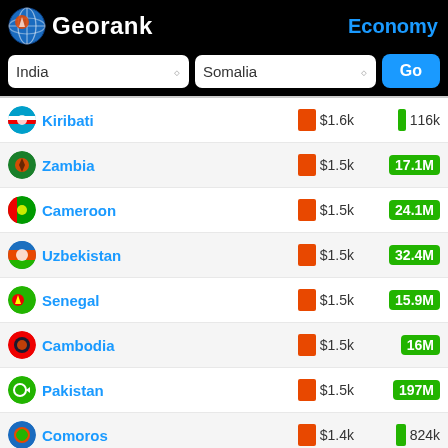Georank — Economy
India | Somalia | Go
| Country | GDP/capita | Population |
| --- | --- | --- |
| Kiribati | $1.6k | 116k |
| Zambia | $1.5k | 17.1M |
| Cameroon | $1.5k | 24.1M |
| Uzbekistan | $1.5k | 32.4M |
| Senegal | $1.5k | 15.9M |
| Cambodia | $1.5k | 16M |
| Pakistan | $1.5k | 197M |
| Comoros | $1.4k | 824k |
| Myanmar | $1.3k | 53.4M |
| Lesotho | $1.3k | 2.23M |